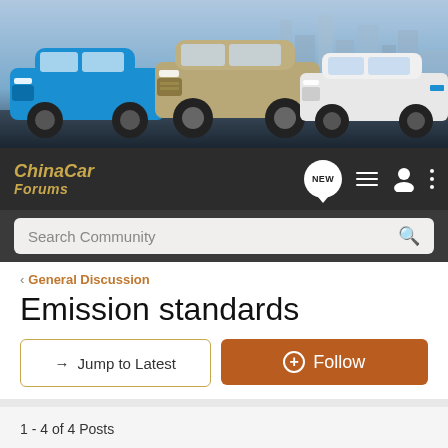[Figure (photo): Banner image showing three Chinese cars: a blue electric SUV, a silver/gold SUV, and a white electric sedan, displayed against a city background]
[Figure (logo): ChinaCar Forums logo in gold italic text with navigation icons including NEW badge, hamburger menu, user profile, and more options]
Search Community
< General Discussion
Emission standards
→ Jump to Latest
+ Follow
1 - 4 of 4 Posts
decar · Registered
Joined Mar 22, 2006 · 1 Posts